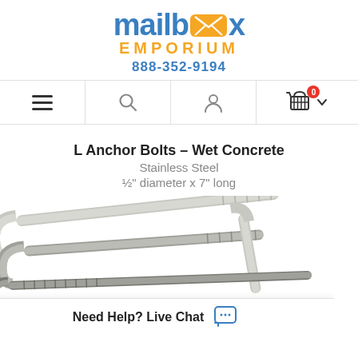[Figure (logo): Mailbox Emporium logo with blue mailbox icon and orange envelope, text reading 'mailbox EMPORIUM 888-352-9194']
[Figure (screenshot): Navigation bar with hamburger menu, search icon, user/account icon, shopping cart icon with 0 badge, and dropdown arrow]
L Anchor Bolts – Wet Concrete
Stainless Steel
½" diameter x 7" long
[Figure (photo): Photo of stainless steel L-shaped anchor bolts lying on white background, showing threaded ends and L-shaped hooks]
Need Help? Live Chat